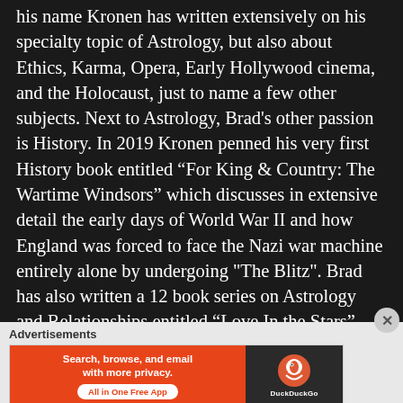his name Kronen has written extensively on his specialty topic of Astrology, but also about Ethics, Karma, Opera, Early Hollywood cinema, and the Holocaust, just to name a few other subjects. Next to Astrology, Brad's other passion is History. In 2019 Kronen penned his very first History book entitled “For King & Country: The Wartime Windsors” which discusses in extensive detail the early days of World War II and how England was forced to face the Nazi war machine entirely alone by undergoing "The Blitz". Brad has also written a 12 book series on Astrology and Relationships entitled “Love In the Stars” where he has written a dating guide
Advertisements
[Figure (other): DuckDuckGo advertisement banner: orange left panel with text 'Search, browse, and email with more privacy. All in One Free App' and dark right panel with DuckDuckGo logo]